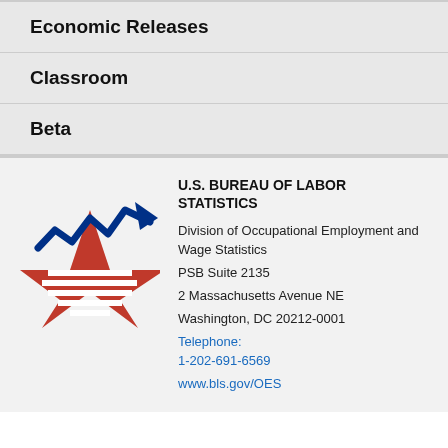Economic Releases
Classroom
Beta
[Figure (logo): U.S. Bureau of Labor Statistics logo: a red star with horizontal stripes and a blue arrow/zigzag line chart above it]
U.S. BUREAU OF LABOR STATISTICS
Division of Occupational Employment and Wage Statistics
PSB Suite 2135
2 Massachusetts Avenue NE
Washington, DC 20212-0001
Telephone: 1-202-691-6569
www.bls.gov/OES